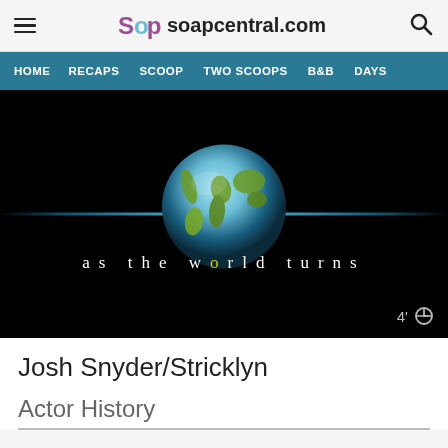soapcentral.com
HOME  RECAPS  SCOOP  TWO SCOOPS  B&B  DAYS
[Figure (screenshot): As the World Turns TV show logo/title card on black background with a glowing blue Earth globe in the center and the spaced-out text 'as the world turns' across the middle. Duration badge '4’' shown in bottom-right.]
Josh Snyder/Stricklyn
Actor History